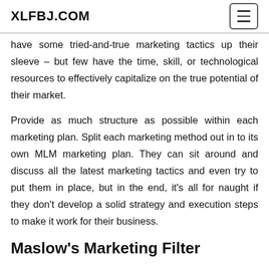XLFBJ.COM
have some tried-and-true marketing tactics up their sleeve – but few have the time, skill, or technological resources to effectively capitalize on the true potential of their market.
Provide as much structure as possible within each marketing plan. Split each marketing method out in to its own MLM marketing plan. They can sit around and discuss all the latest marketing tactics and even try to put them in place, but in the end, it's all for naught if they don't develop a solid strategy and execution steps to make it work for their business.
Maslow's Marketing Filter